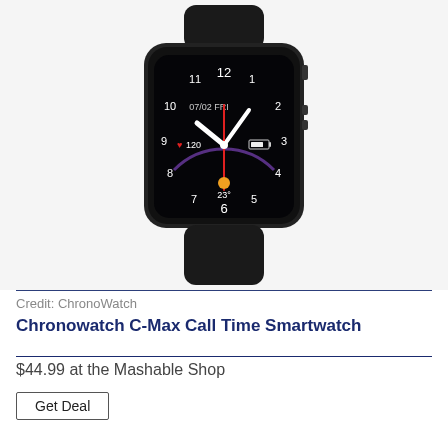[Figure (photo): A black smartwatch (Chronowatch C-Max) displayed face-up against a white background. The watch has a square face with a black dial showing a clock face with hours 1-12, white clock hands pointing to approximately 10:10, a red seconds hand, date showing 07/02 FRI, heart rate reading 120, weather icon showing 23 degrees, and a battery indicator. The watch has a black rubber/silicone band.]
Credit: ChronoWatch
Chronowatch C-Max Call Time Smartwatch
$44.99 at the Mashable Shop
Get Deal